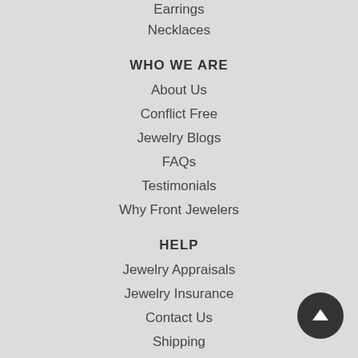Earrings
Necklaces
WHO WE ARE
About Us
Conflict Free
Jewelry Blogs
FAQs
Testimonials
Why Front Jewelers
HELP
Jewelry Appraisals
Jewelry Insurance
Contact Us
Shipping
Terms & Conditions
Privacy Policy